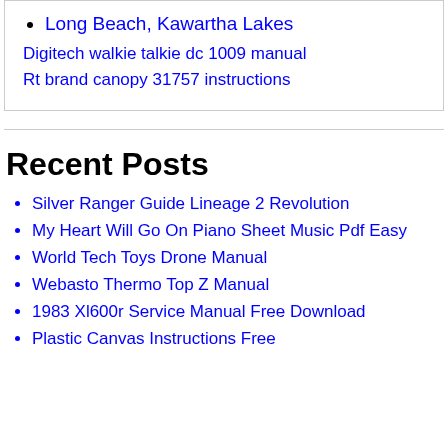Long Beach, Kawartha Lakes
Digitech walkie talkie dc 1009 manual
Rt brand canopy 31757 instructions
Recent Posts
Silver Ranger Guide Lineage 2 Revolution
My Heart Will Go On Piano Sheet Music Pdf Easy
World Tech Toys Drone Manual
Webasto Thermo Top Z Manual
1983 Xl600r Service Manual Free Download
Plastic Canvas Instructions Free